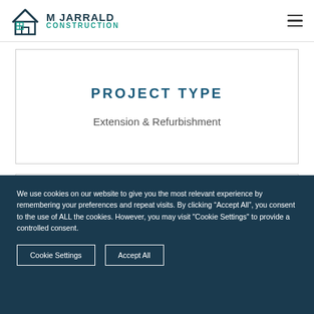M JARRALD CONSTRUCTION
PROJECT TYPE
Extension & Refurbishment
We use cookies on our website to give you the most relevant experience by remembering your preferences and repeat visits. By clicking “Accept All”, you consent to the use of ALL the cookies. However, you may visit "Cookie Settings" to provide a controlled consent.
Cookie Settings | Accept All